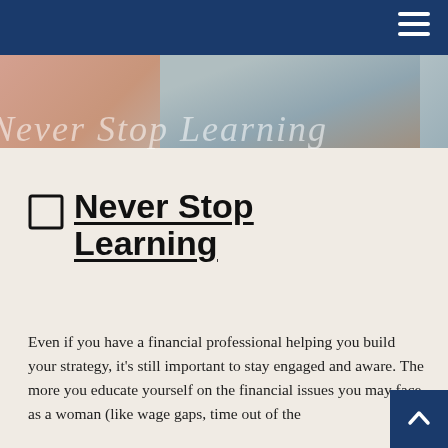[Figure (photo): Top portion of a webpage showing a photo of books/study materials with a peach and blue-grey color palette]
Never Stop Learning
Even if you have a financial professional helping you build your strategy, it's still important to stay engaged and aware. The more you educate yourself on the financial issues you may face as a woman (like wage gaps, time out of the [workforce, life events]) the better...